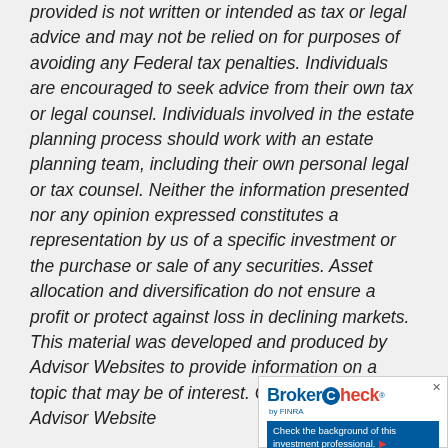provided is not written or intended as tax or legal advice and may not be relied on for purposes of avoiding any Federal tax penalties. Individuals are encouraged to seek advice from their own tax or legal counsel. Individuals involved in the estate planning process should work with an estate planning team, including their own personal legal or tax counsel. Neither the information presented nor any opinion expressed constitutes a representation by us of a specific investment or the purchase or sale of any securities. Asset allocation and diversification do not ensure a profit or protect against loss in declining markets. This material was developed and produced by Advisor Websites to provide information on a topic that may be of interest. Copyright 2022 Advisor Website
[Figure (logo): BrokerCheck by FINRA widget — logo with blue 'Broker' text, red circled 'C' and 'Check' text, FINRA byline, and blue CTA button 'Check the background of this investment professional.' with red arrow]